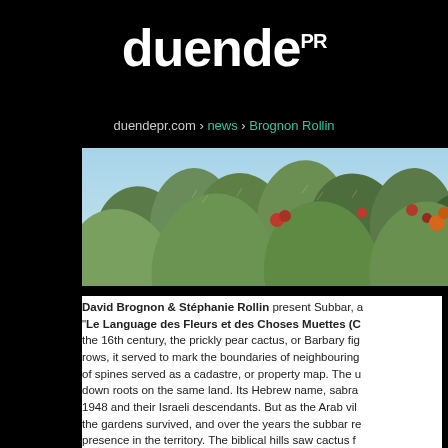duendePR
duendepr.com > news > Brognon Rollin
[Figure (photo): Close-up photograph of prickly pear cactus (Barbary fig) with green paddle-shaped pads and red/orange fruit visible against a light sky background.]
David Brognon & Stéphanie Rollin present Subbar, "Le Language des Fleurs et des Choses Muettes (C... the 16th century, the prickly pear cactus, or Barbary fig... rows, it served to mark the boundaries of neighbouring... of spines served as a cadastre, or property map. The u... down roots on the same land. Its Hebrew name, sabra... 1948 and their Israeli descendants. But as the Arab vil... the gardens survived, and over the years the subbar re... presence in the territory. The biblical hills saw cactus f... suite...